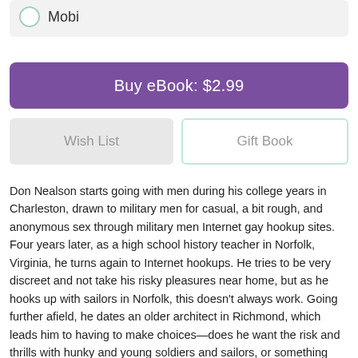Mobi
Buy eBook: $2.99
Wish List
Gift Book
Don Nealson starts going with men during his college years in Charleston, drawn to military men for casual, a bit rough, and anonymous sex through military men Internet gay hookup sites. Four years later, as a high school history teacher in Norfolk, Virginia, he turns again to Internet hookups. He tries to be very discreet and not take his risky pleasures near home, but as he hooks up with sailors in Norfolk, this doesn't always work. Going further afield, he dates an older architect in Richmond, which leads him to having to make choices—does he want the risk and thrills with hunky and young soldiers and sailors, or something more refined and permanent with an older man? Don Nealson starts going with men during his college years in Charleston, drawn to military men for casual, a bit rough, and anonymous sex through military men Internet gay hookup sites. Four